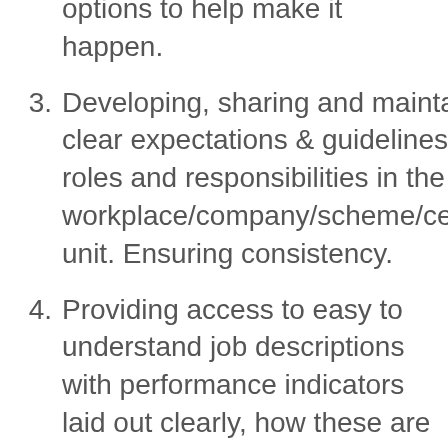options to help make it happen.
3. Developing, sharing and maintaining clear expectations & guidelines for all roles and responsibilities in the workplace/company/scheme/centre/co unit. Ensuring consistency.
4. Providing access to easy to understand job descriptions with performance indicators laid out clearly, how these are expected to be met on an ongoing basis and the consequences or actions for not